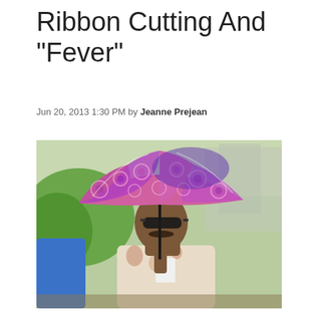Ribbon Cutting And “Fever”
Jun 20, 2013 1:30 PM by Jeanne Prejean
[Figure (photo): A man holding a pink and purple patterned umbrella, wearing sunglasses and a floral shirt with a name tag, standing outdoors. Another person in a blue shirt is partially visible on the left.]